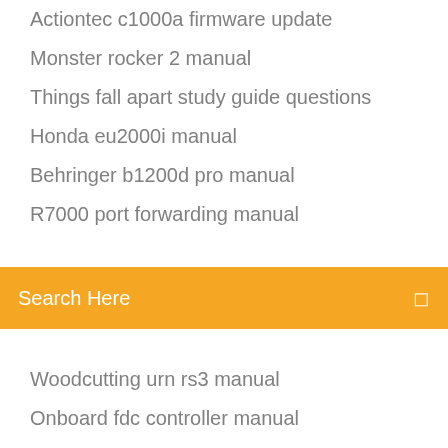Actiontec c1000a firmware update
Monster rocker 2 manual
Things fall apart study guide questions
Honda eu2000i manual
Behringer b1200d pro manual
R7000 port forwarding manual
[Figure (screenshot): Orange search bar with 'Search Here' placeholder text and a search icon on the right]
Woodcutting urn rs3 manual
Onboard fdc controller manual
Ppl attendant timesheet manual
Deathtrap mercenary build manual
Symptom to diagnosis an evidence based guide
4l60e overhaul manual
Netgear airtime fairness manual
Sears surge protector manual
Aspen wood stove manual
Poulan chain saw parts manual